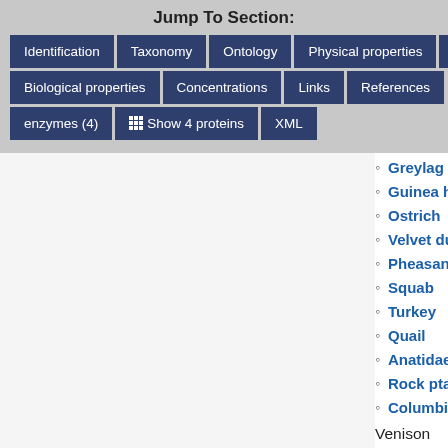Jump To Section:
Identification
Taxonomy
Ontology
Physical properties
Spectra
Biological properties
Concentrations
Links
References
enzymes (4)
Show 4 proteins
XML
Greylag g
Guinea he
Ostrich
Velvet duc
Pheasant
Squab
Turkey
Quail
Anatidae
Rock ptar
Columbid
Venison
Mule deer